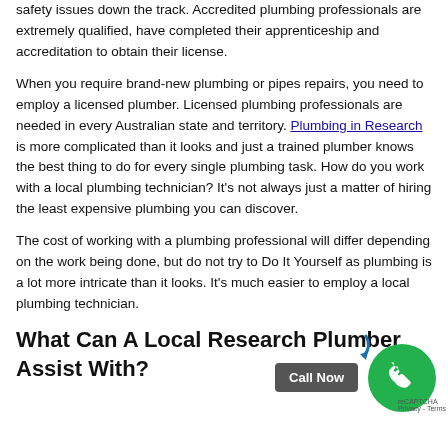safety issues down the track. Accredited plumbing professionals are extremely qualified, have completed their apprenticeship and accreditation to obtain their license.
When you require brand-new plumbing or pipes repairs, you need to employ a licensed plumber. Licensed plumbing professionals are needed in every Australian state and territory. Plumbing in Research is more complicated than it looks and just a trained plumber knows the best thing to do for every single plumbing task. How do you work with a local plumbing technician? It's not always just a matter of hiring the least expensive plumbing you can discover.
The cost of working with a plumbing professional will differ depending on the work being done, but do not try to Do It Yourself as plumbing is a lot more intricate than it looks. It's much easier to employ a local plumbing technician.
What Can A Local Research Plumber Assist With?